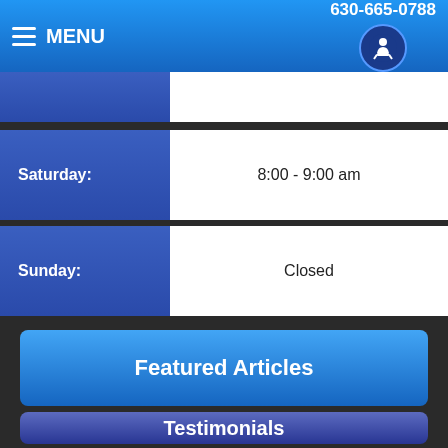MENU  630-665-0788
| Day | Hours |
| --- | --- |
| Saturday: | 8:00 - 9:00 am |
| Sunday: | Closed |
Featured Articles
Testimonials
[Figure (infographic): Social media icons: Twitter, Yelp, YouTube, Facebook]